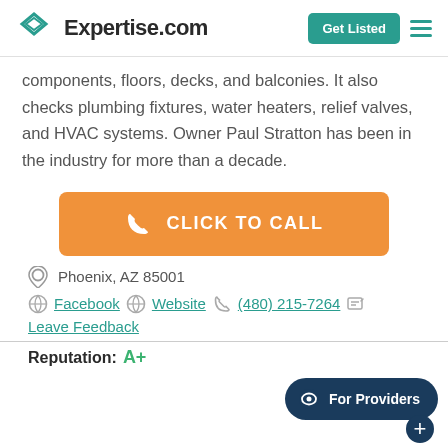Expertise.com | Get Listed
components, floors, decks, and balconies. It also checks plumbing fixtures, water heaters, relief valves, and HVAC systems. Owner Paul Stratton has been in the industry for more than a decade.
[Figure (other): Orange 'CLICK TO CALL' button with phone icon]
Phoenix, AZ 85001
Facebook | Website | (480) 215-7264 | Leave Feedback
Reputation: A+